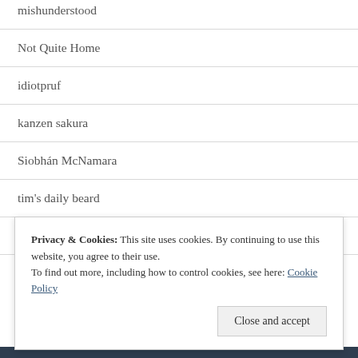mishunderstood
Not Quite Home
idiotpruf
kanzen sakura
Siobhán McNamara
tim's daily beard
Haibun Thinking
Privacy & Cookies: This site uses cookies. By continuing to use this website, you agree to their use. To find out more, including how to control cookies, see here: Cookie Policy
Close and accept